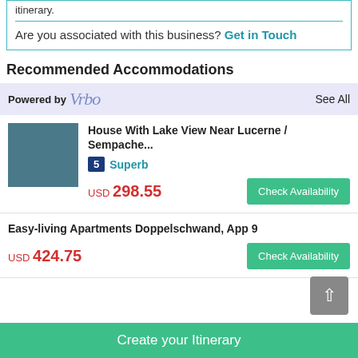itinerary.
Are you associated with this business? Get in Touch
Recommended Accommodations
Powered by Vrbo  See All
House With Lake View Near Lucerne / Sempache... 5 Superb USD 298.55 Check Availability
Easy-living Apartments Doppelschwand, App 9 USD 424.75 Check Availability
Create your Itinerary